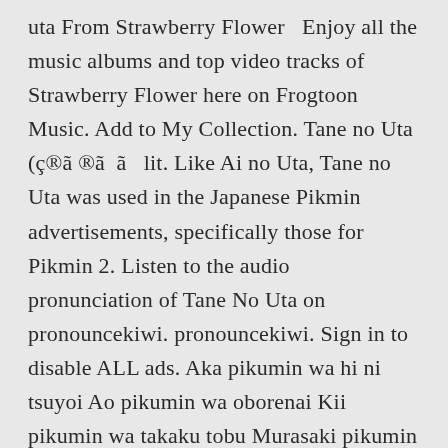uta From Strawberry Flower   Enjoy all the music albums and top video tracks of Strawberry Flower here on Frogtoon Music. Add to My Collection. Tane no Uta (ç®ã ®ã　ã　 lit. Like Ai no Uta, Tane no Uta was used in the Japanese Pikmin advertisements, specifically those for Pikmin 2. Listen to the audio pronunciation of Tane No Uta on pronouncekiwi. pronouncekiwi. Sign in to disable ALL ads. Aka pikumin wa hi ni tsuyoi Ao pikumin wa oborenai Kii pikumin wa takaku tobu Murasaki pikumin chikara mochi Shiro Pikumin niwa Doku ga aru Kosei ga iroiro ikite iru yo Atama no teppen me wo dashite Sono me ga happa ni sodattara Sono ha wa tsubomi ni chijikomari Sono tsubomi kara hana saita